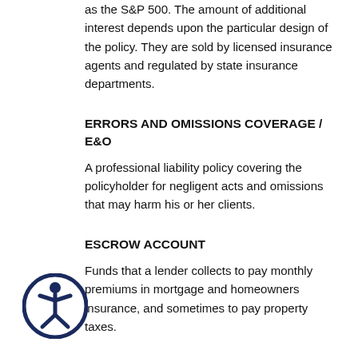as the S&P 500. The amount of additional interest depends upon the particular design of the policy. They are sold by licensed insurance agents and regulated by state insurance departments.
ERRORS AND OMISSIONS COVERAGE / E&O
A professional liability policy covering the policyholder for negligent acts and omissions that may harm his or her clients.
ESCROW ACCOUNT
Funds that a lender collects to pay monthly premiums in mortgage and homeowners insurance, and sometimes to pay property taxes.
[Figure (illustration): Accessibility icon: a circular icon with a person figure inside, dark navy blue border and white background]